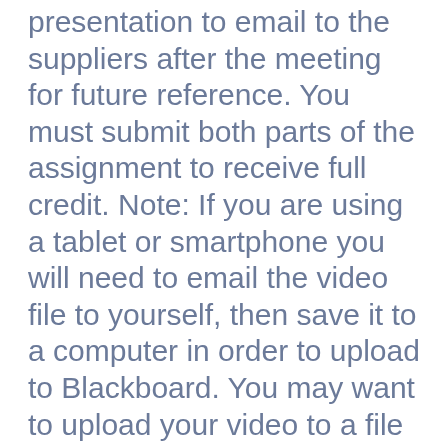presentation to email to the suppliers after the meeting for future reference. You must submit both parts of the assignment to receive full credit. Note: If you are using a tablet or smartphone you will need to email the video file to yourself, then save it to a computer in order to upload to Blackboard. You may want to upload your video to a file sharing service, such as Dropbox, if your email will not let you send a large video file. Dropbox is accessible from all smartphones and tablets from the Dropbox app. Once you are ready to upload your video to Blackboard, view the Kaltura video tutorial found in your online course shell (Week 9). Please use the following naming convention in the popup window for your video once it is finished uploading: Title: Your First Name, Your Last Name